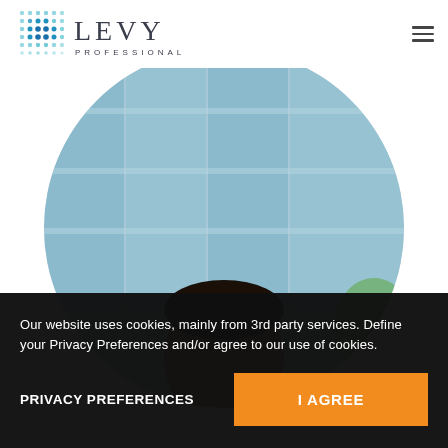[Figure (logo): Levy Professionals logo with teal dot-grid and wordmark]
[Figure (photo): Person in office environment with glass building background, cropped in a circle]
Our website uses cookies, mainly from 3rd party services. Define your Privacy Preferences and/or agree to our use of cookies.
PRIVACY PREFERENCES
I AGREE